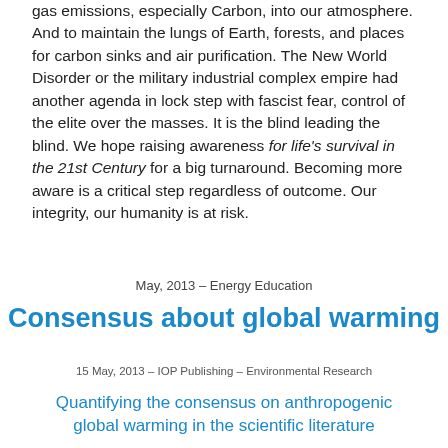gas emissions, especially Carbon, into our atmosphere. And to maintain the lungs of Earth, forests, and places for carbon sinks and air purification. The New World Disorder or the military industrial complex empire had another agenda in lock step with fascist fear, control of the elite over the masses. It is the blind leading the blind. We hope raising awareness for life's survival in the 21st Century for a big turnaround. Becoming more aware is a critical step regardless of outcome. Our integrity, our humanity is at risk.
May, 2013 – Energy Education
Consensus about global warming
15 May, 2013 – IOP Publishing – Environmental Research
Quantifying the consensus on anthropogenic global warming in the scientific literature